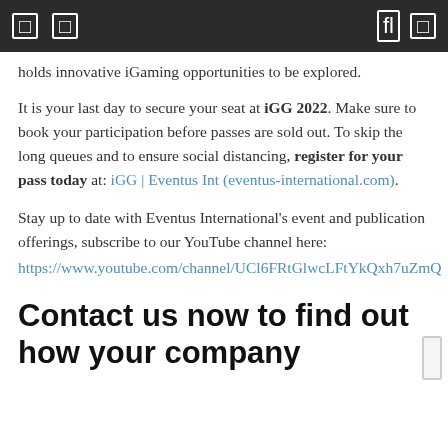[ ]  [ ]   [search] [ ]
holds innovative iGaming opportunities to be explored.
It is your last day to secure your seat at iGG 2022. Make sure to book your participation before passes are sold out. To skip the long queues and to ensure social distancing, register for your pass today at: iGG | Eventus Int (eventus-international.com).
Stay up to date with Eventus International's event and publication offerings, subscribe to our YouTube channel here: https://www.youtube.com/channel/UCl6FRtGlwcLFtYkQxh7uZmQ
Contact us now to find out how your company